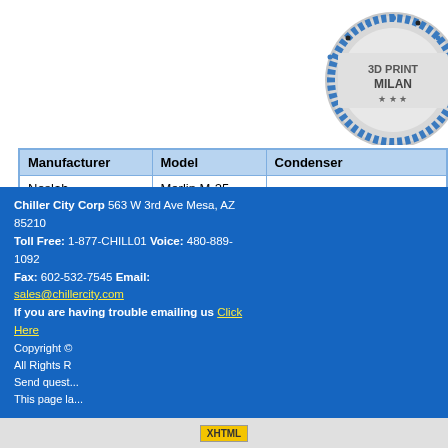[Figure (logo): 3D Print Milano circular logo badge in upper right area]
| Manufacturer | Model | Condenser |
| --- | --- | --- |
| Neslab | Merlin M-25 |  |
| BOM | Pump | Controller |
| 262-0403-000 | PD1 | Merlin MP Controller |
| Comment |  |  |
| 101859701 Chris Grady. RMA: 11162, Inv# 13665, M-25 repair for A... |  |  |
Go Back to Inventory Search R...
Chiller City Corp 563 W 3rd Ave Mesa, AZ 85210 Toll Free: 1-877-CHILL01 Voice: 480-889-1092 Fax: 602-532-7545 Email: sales@chillercity.com If you are having trouble emailing us Click Here | Copyright © All Rights R... Send quest... This page la...